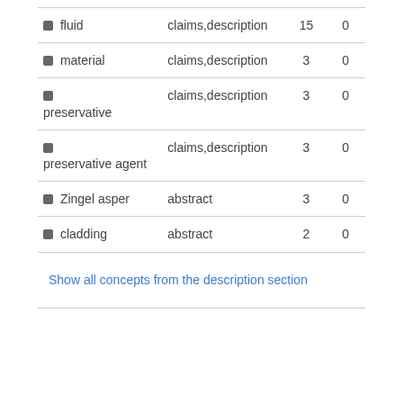| Term | Section | Count1 | Count2 |
| --- | --- | --- | --- |
| fluid | claims,description | 15 | 0 |
| material | claims,description | 3 | 0 |
| preservative | claims,description | 3 | 0 |
| preservative agent | claims,description | 3 | 0 |
| Zingel asper | abstract | 3 | 0 |
| cladding | abstract | 2 | 0 |
Show all concepts from the description section